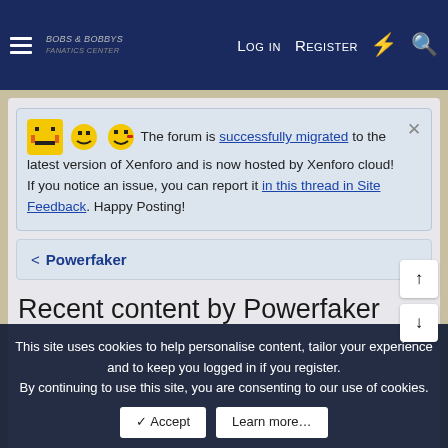Log in  Register
The forum is successfully migrated to the latest version of Xenforo and is now hosted by Xenforo cloud! If you notice an issue, you can report it in this thread in Site Feedback. Happy Posting!
Powerfaker
Recent content by Powerfaker
This site uses cookies to help personalise content, tailor your experience and to keep you logged in if you register. By continuing to use this site, you are consenting to our use of cookies.
Accept   Learn more…